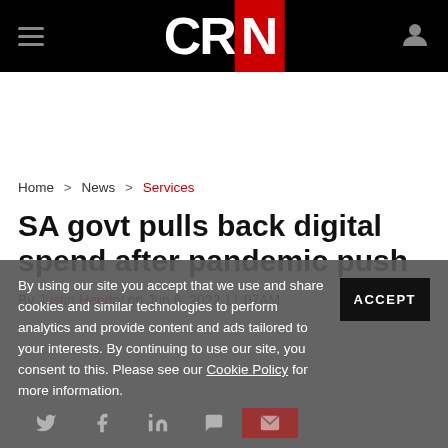CRN
Home > News > Services
SA govt pulls back digital spend after pandemic push
By Justin Hendry on Jun 6, 2022 11:07AM
By using our site you accept that we use and share cookies and similar technologies to perform analytics and provide content and ads tailored to your interests. By continuing to use our site, you consent to this. Please see our Cookie Policy for more information.